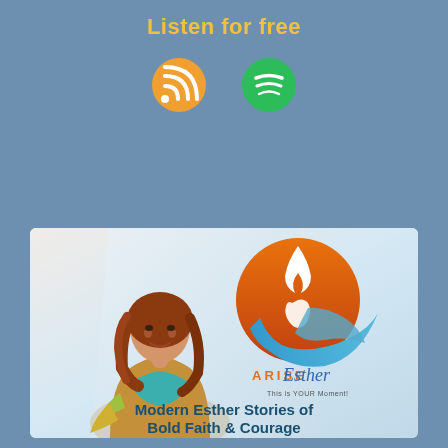Listen for free
[Figure (logo): RSS feed icon (orange) and Spotify icon (green) on blue background]
[Figure (illustration): Arise Esther podcast card showing a woman with auburn hair, the Arise Esther circular logo with flame and flowing hair motif, and text 'Modern Esther Stories of Bold Faith & Courage']